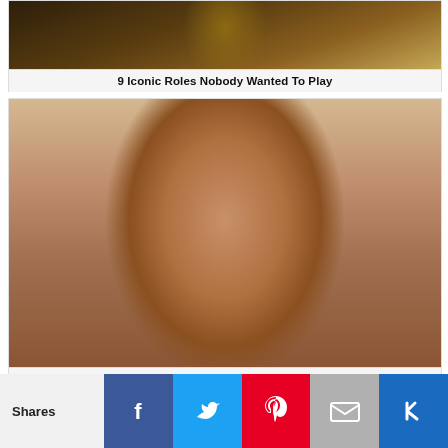[Figure (photo): Photo of person with dreadlocks]
9 Iconic Roles Nobody Wanted To Play
[Figure (photo): Photo of an Asian woman with dark hair, close-up portrait]
10 Extremely Gorgeous Asian Actresses
[Figure (photo): Partial photo, green background visible at bottom]
Shares